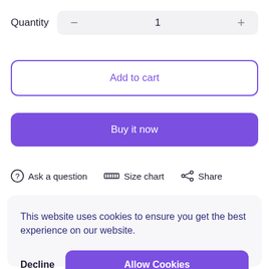Quantity   −   1   +
Add to cart
Buy it now
? Ask a question   [ruler] Size chart   [share] Share
This website uses cookies to ensure you get the best experience on our website.
Decline
Allow Cookies